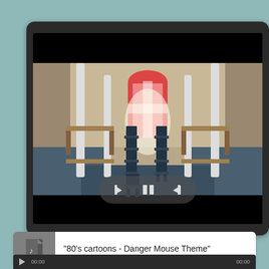[Figure (screenshot): Video player showing an interior hall/room with rows of chairs, tables, white columns, and an arched door with a Union Jack visible. Playback controls (back, pause, forward) are shown at the bottom center of the video.]
‘80’s cartoons - Danger Mouse Theme”
[Figure (screenshot): Bottom audio/media player bar showing play button, timestamp start (00:00) on the left and timestamp end (00:00) on the right, dark background.]